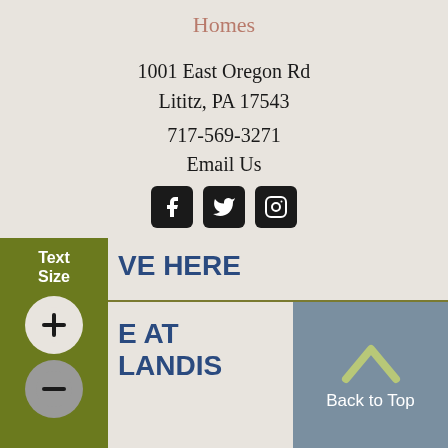Homes
1001 East Oregon Rd
Lititz, PA 17543
717-569-3271
Email Us
[Figure (illustration): Social media icons: Facebook, Twitter, Instagram in black rounded square boxes]
HOME
Text Size
VE HERE
E AT LANDIS
Back to Top